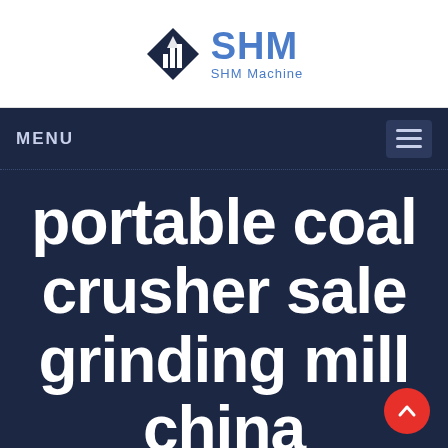SHM — SHM Machine
MENU
portable coal crusher sale grinding mill china